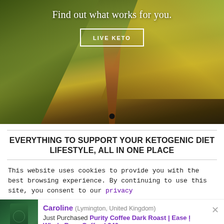[Figure (photo): Hero image of a person walking on a narrow mountain ridge trail with green grassy hills and golden terrain. Text overlay reads 'Find out what works for you.' with a 'LIVE KETO' button.]
EVERYTHING TO SUPPORT YOUR KETOGENIC DIET LIFESTYLE, ALL IN ONE PLACE
This website uses cookies to provide you with the best browsing experience. By continuing to use this site, you consent to our privacy
[Figure (screenshot): Notification popup showing: Caroline (Lymington, United Kingdom) Just Purchased Purity Coffee Dark Roast | Ease | Whole Bean Coffee | 340g Recently. Shows a green coffee bag image on the left and a close (×) button.]